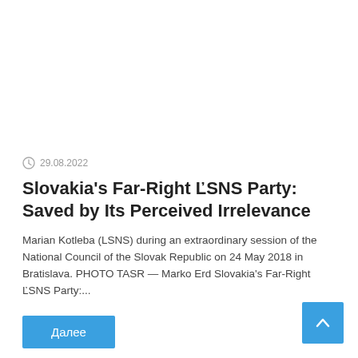29.08.2022
Slovakia's Far-Right ĽSNS Party: Saved by Its Perceived Irrelevance
Marian Kotleba (LSNS) during an extraordinary session of the National Council of the Slovak Republic on 24 May 2018 in Bratislava. PHOTO TASR — Marko Erd Slovakia's Far-Right ĽSNS Party:...
Далее